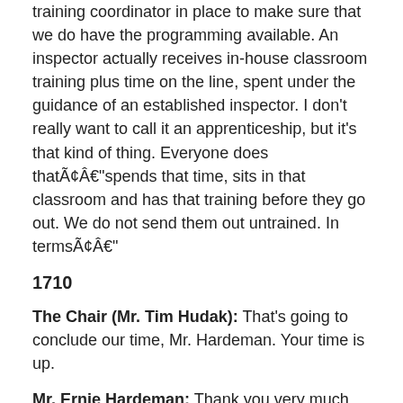training coordinator in place to make sure that we do have the programming available. An inspector actually receives in-house classroom training plus time on the line, spent under the guidance of an established inspector. I don't really want to call it an apprenticeship, but it's that kind of thing. Everyone does thatÃ¢Ââspends that time, sits in that classroom and has that training before they go out. We do not send them out untrained. In termsÃ¢Ââ"
1710
The Chair (Mr. Tim Hudak): That's going to conclude our time, Mr. Hardeman. Your time is up.
Mr. Ernie Hardeman: Thank you very much. That has answered my question completely.
The Chair (Mr. Tim Hudak): Folks, just by way of update, it sounds like there has been no agreement among members to drop any time, so this means that the Tuesday, October 28 meeting will continue with the